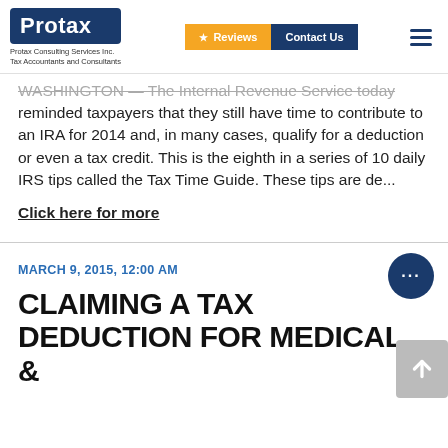[Figure (logo): Protax logo with dark blue background, white bold text 'Protax', subtext 'Protax Consulting Services Inc. Tax Accountants and Consultants']
[Figure (screenshot): Navigation bar with orange Reviews button and dark blue Contact Us button, and hamburger menu icon]
WASHINGTON — The Internal Revenue Service today reminded taxpayers that they still have time to contribute to an IRA for 2014 and, in many cases, qualify for a deduction or even a tax credit. This is the eighth in a series of 10 daily IRS tips called the Tax Time Guide. These tips are de...
Click here for more
MARCH 9, 2015, 12:00 AM
CLAIMING A TAX DEDUCTION FOR MEDICAL &